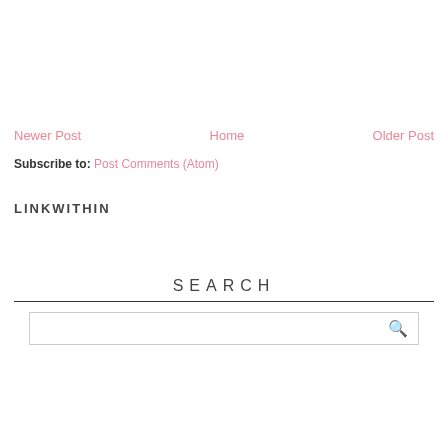Newer Post | Home | Older Post
Subscribe to: Post Comments (Atom)
LINKWITHIN
SEARCH